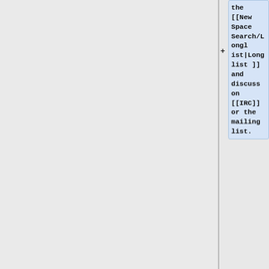the [[New Space Search/Longlist|Longlist]] and discuss on [[IRC]] or the mailing list.
== Links to Video Walkaround of Cremer ==
Not sure which is which, though they